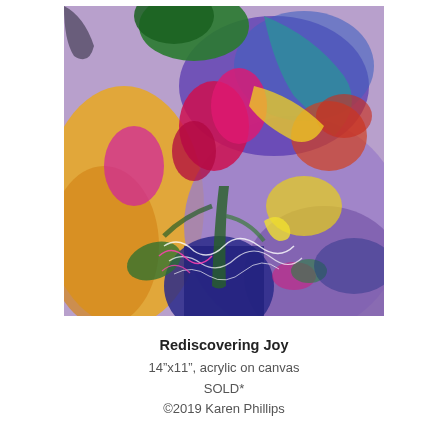[Figure (illustration): Abstract acrylic painting on canvas with vibrant colors — purple, yellow, red, magenta, green, blue — showing dynamic brushstrokes and gestural marks resembling flowers or foliage. Artist signature visible in white lines in the lower center. Title: Rediscovering Joy by Karen Phillips.]
Rediscovering Joy
14"x11", acrylic on canvas
SOLD*
©2019 Karen Phillips